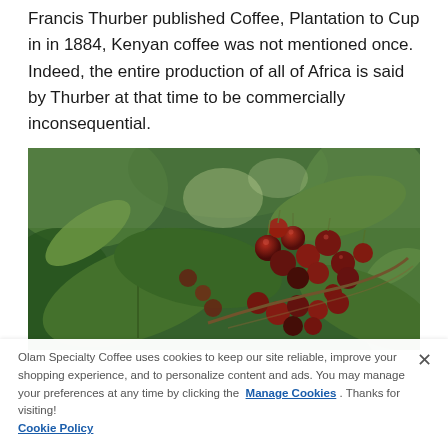Francis Thurber published Coffee, Plantation to Cup in in 1884, Kenyan coffee was not mentioned once. Indeed, the entire production of all of Africa is said by Thurber at that time to be commercially inconsequential.
[Figure (photo): Close-up photograph of red coffee cherries on a branch with green leaves, shot with shallow depth of field. The berries are ripe and clustered together in a lush, natural setting.]
Olam Specialty Coffee uses cookies to keep our site reliable, improve your shopping experience, and to personalize content and ads. You may manage your preferences at any time by clicking the Manage Cookies . Thanks for visiting! Cookie Policy